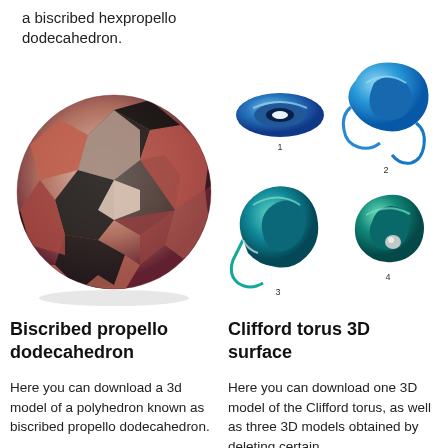a biscribed hexpropello dodecahedron.
[Figure (illustration): 3D rendering of a biscribed propello dodecahedron, a polyhedron with reddish-brown and black pentagonal faces arranged in a sphere-like shape.]
[Figure (illustration): Four 3D models of Clifford torus surfaces labeled 1-4, rendered in shades of blue and teal/green, showing different cuts and shapes of the torus surface.]
Biscribed propello dodecahedron
Clifford torus 3D surface
Here you can download a 3d model of a polyhedron known as biscribed propello dodecahedron.
Here you can download one 3D model of the Clifford torus, as well as three 3D models obtained by deleting certain